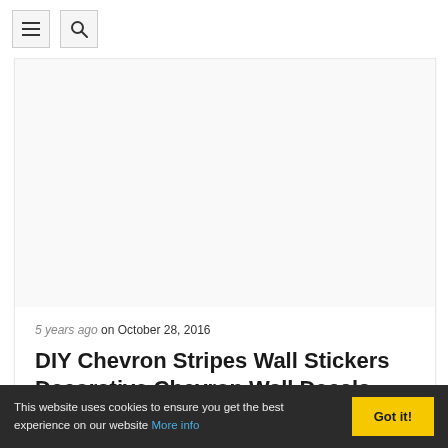Navigation bar with menu and search buttons
[Figure (other): White/blank article image placeholder in a card]
5 years ago on October 28, 2016
DIY Chevron Stripes Wall Stickers Decorative Chevron Wall Decals ...
This website uses cookies to ensure you get the best experience on our website More info Got it!